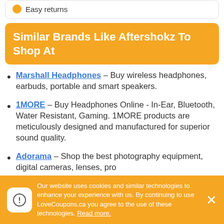Easy returns
Similar Brands Like Aftershokz To Shop At
Marshall Headphones – Buy wireless headphones, earbuds, portable and smart speakers.
1MORE – Buy Headphones Online - In-Ear, Bluetooth, Water Resistant, Gaming. 1MORE products are meticulously designed and manufactured for superior sound quality.
Adorama – Shop the best photography equipment, digital cameras, lenses, pro
Our website uses cookies and similar technologies to enhance your experience with us. By continuing to use LoveCoupons.ca you agree to the use of these technologies. Read more.